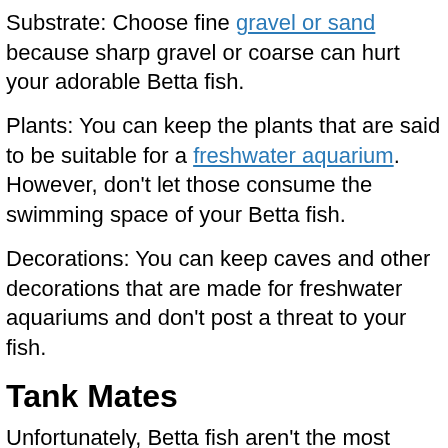Substrate: Choose fine gravel or sand because sharp gravel or coarse can hurt your adorable Betta fish.
Plants: You can keep the plants that are said to be suitable for a freshwater aquarium. However, don't let those consume the swimming space of your Betta fish.
Decorations: You can keep caves and other decorations that are made for freshwater aquariums and don't post a threat to your fish.
Tank Mates
Unfortunately, Betta fish aren't the most peaceful fish. They don't get along with other Betta fish. So, you can only think of how it goes with other types of fish. However,